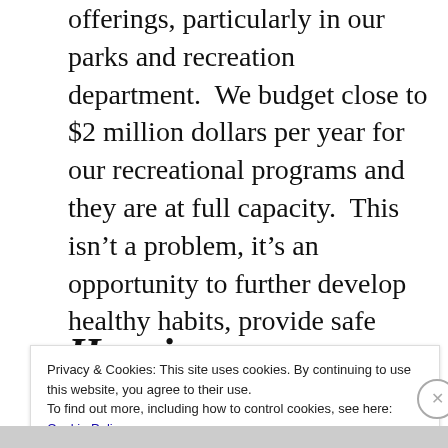offerings, particularly in our parks and recreation department.  We budget close to $2 million dollars per year for our recreational programs and they are at full capacity.  This isn’t a problem, it’s an opportunity to further develop healthy habits, provide safe spaces for our youth and provide educational and social events for children, adults and seniors.
Housing
Privacy & Cookies: This site uses cookies. By continuing to use this website, you agree to their use.
To find out more, including how to control cookies, see here:
Cookie Policy